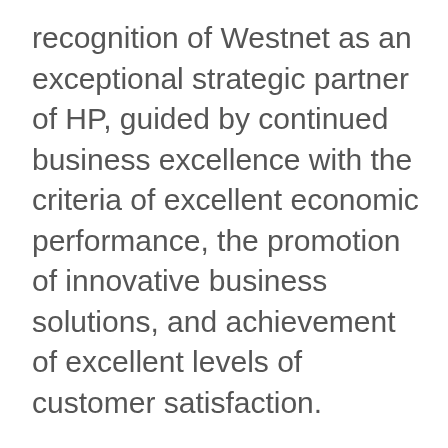recognition of Westnet as an exceptional strategic partner of HP, guided by continued business excellence with the criteria of excellent economic performance, the promotion of innovative business solutions, and achievement of excellent levels of customer satisfaction.